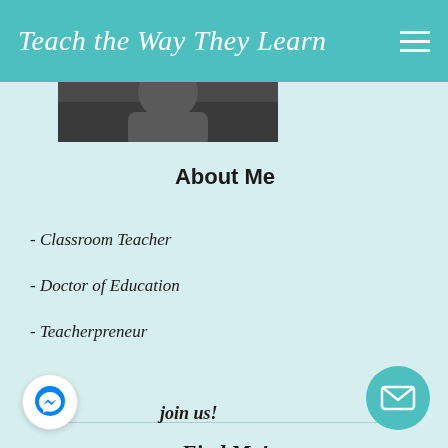Teach the Way They Learn
[Figure (photo): Partial photo of a person at the top of the sidebar]
About Me
- Classroom Teacher
- Doctor of Education
- Teacherpreneur
Find Me!
[Figure (infographic): Social media icons: Pinterest, Instagram, Facebook, Email]
[Figure (logo): Facebook Messenger chat bubble icon at bottom left]
join us!
[Figure (infographic): Teal circular mail/envelope button at bottom right]